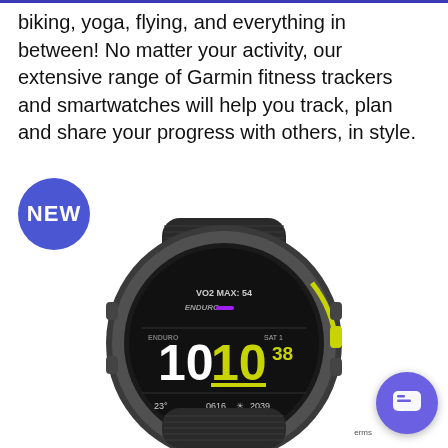biking, yoga, flying, and everything in between! No matter your activity, our extensive range of Garmin fitness trackers and smartwatches will help you track, plan and share your progress with others, in style.
[Figure (logo): Blue circle badge with white bold text 'NEW']
[Figure (photo): Garmin Enduro smartwatch with black nylon band showing time 10:10:38, VO2 MAX 54, ENDURO display, SAT 1, 23°, 0616, 2039, and PRODUCTIVE label. Yellow-green accent color on watch face.]